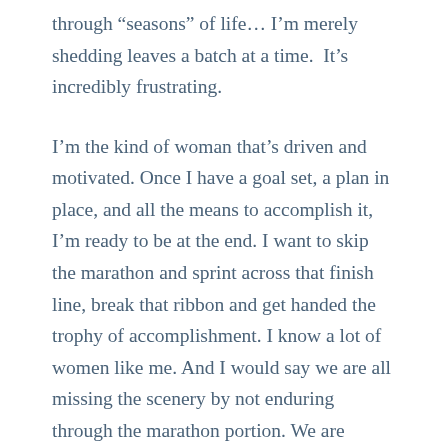through “seasons” of life… I’m merely shedding leaves a batch at a time.  It’s incredibly frustrating.
I’m the kind of woman that’s driven and motivated. Once I have a goal set, a plan in place, and all the means to accomplish it, I’m ready to be at the end. I want to skip the marathon and sprint across that finish line, break that ribbon and get handed the trophy of accomplishment. I know a lot of women like me. And I would say we are all missing the scenery by not enduring through the marathon portion. We are missing an awful lot of God’s beauty and creation by trying to skip the hard part of holding on to hope with our longing.
I hear this desire to “be there” echoed in other